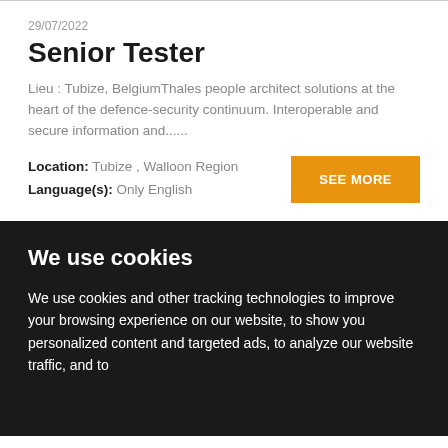29/07/2022
Senior Tester
Lieu : Tubize, BelgiumThales people architect solutions at the heart of the defence-security continuum. Interoperable and secure information and......
Location: Tubize , Walloon Region
Language(s): Only English
We use cookies
We use cookies and other tracking technologies to improve your browsing experience on our website, to show you personalized content and targeted ads, to analyze our website traffic, and to